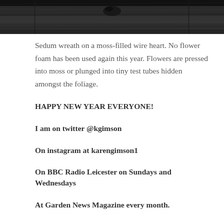[Figure (photo): Dark wood texture background image, cropped at top of page]
Sedum wreath on a moss-filled wire heart. No flower foam has been used again this year. Flowers are pressed into moss or plunged into tiny test tubes hidden amongst the foliage.
HAPPY NEW YEAR EVERYONE!
I am on twitter @kgimson
On instagram at karengimson1
On BBC Radio Leicester on Sundays and Wednesdays
At Garden News Magazine every month.